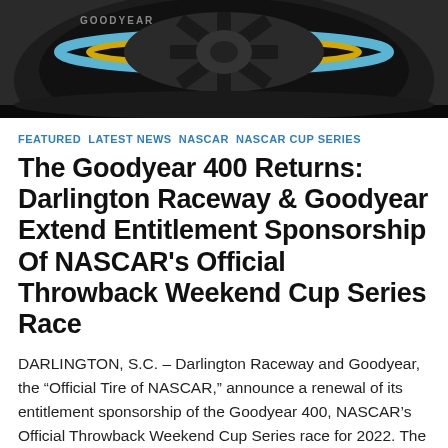[Figure (photo): Close-up photograph of a Goodyear racing tire with blue and yellow markings on the rim, dark background]
FEATURED LATEST NEWS NASCAR NASCAR CUP SERIES
The Goodyear 400 Returns: Darlington Raceway & Goodyear Extend Entitlement Sponsorship Of NASCAR's Official Throwback Weekend Cup Series Race
DARLINGTON, S.C. – Darlington Raceway and Goodyear, the “Official Tire of NASCAR,” announce a renewal of its entitlement sponsorship of the Goodyear 400, NASCAR’s Official Throwback Weekend Cup Series race for 2022. The Goodyear 400 will celebrate the history of stock